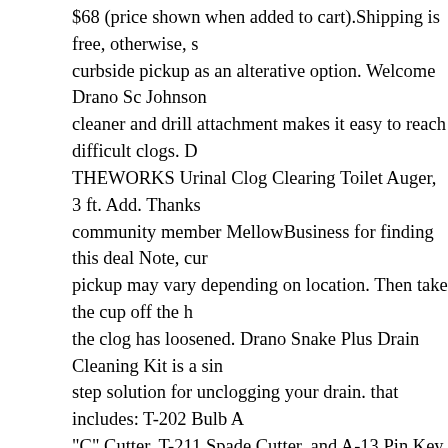$68 (price shown when added to cart).Shipping is free, otherwise, s curbside pickup as an alterative option. Welcome Drano Sc Johnson cleaner and drill attachment makes it easy to reach difficult clogs. D THEWORKS Urinal Clog Clearing Toilet Auger, 3 ft. Add. Thanks community member MellowBusiness for finding this deal Note, cur pickup may vary depending on location. Then take the cup off the h the clog has loosened. Drano Snake Plus Drain Cleaning Kit is a sin step solution for unclogging your drain. that includes: T-202 Bulb A "C" Cutter, T-211 Spade Cutter, and A-13 Pin Key. Get free shipping view promotions and reviews for Drano Snake Plus Drain Cleaning carefully inserted the smaller of the two snakes (there's a larger one drains that will also fit in the sink but more snugly), twisting it some directions. 25 Pack Drain Clog Remover 20 Inch, Sink Snake Hair R Tool Drain Auger Drain Cleaner Plumbing Snake for Kitchen Sink, Toilet and Shower. Drain snakes vary greatly in price, depending on length and turning mechanism. . Liquid-Plumr. T. 100% Satisfaction with all Walgreens products or your money back. There are other ty products such as liquid and aerosol varieties that may. current price More. It won't hurt your pipes (though it'll destroy a septic system a severe burns on your skin just the same). 2 used from $19.99. Comf handle and rubberized jaws allow for easy retrieval of objects high a